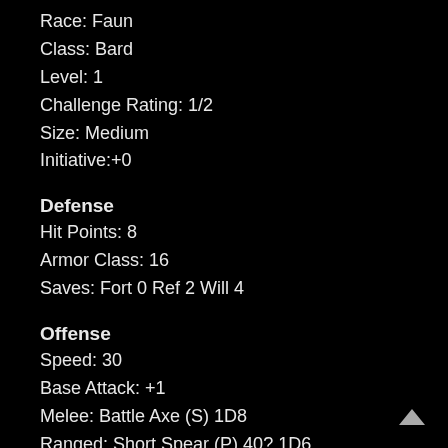Race: Faun
Class: Bard
Level: 1
Challenge Rating: 1/2
Size: Medium
Initiative:+0
Defense
Hit Points: 8
Armor Class: 16
Saves: Fort 0 Ref 2 Will 4
Offense
Speed: 30
Base Attack: +1
Melee: Battle Axe (S) 1D8
Ranged: Short Spear (P) 40? 1D6